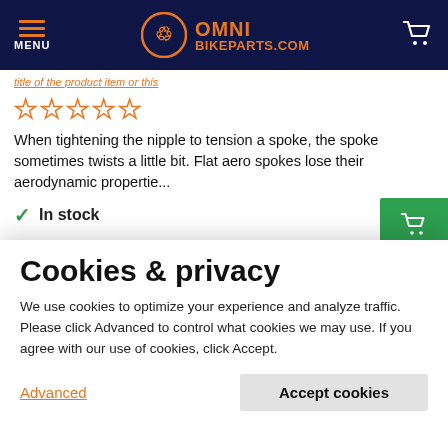OMNI BIKEPARTS.COM
When tightening the nipple to tension a spoke, the spoke sometimes twists a little bit. Flat aero spokes lose their aerodynamic propertie...
In stock
Cookies & privacy
We use cookies to optimize your experience and analyze traffic. Please click Advanced to control what cookies we may use. If you agree with our use of cookies, click Accept.
Advanced
Accept cookies